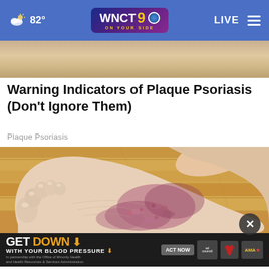82° WNCT 9 ON YOUR SIDE LIVE
[Figure (photo): Top image strip - partial photo crop at top of page]
Warning Indicators of Plaque Psoriasis (Don't Ignore Them)
Plaque Psoriasis
[Figure (photo): Close-up photo of a human foot and ankle showing psoriasis skin condition with reddish-purple patches and scaling on the sole and heel area, held by a hand against a wooden floor background]
[Figure (infographic): Advertisement banner: GET DOWN WITH YOUR BLOOD PRESSURE - In partnership with the Office of Minority Health and Health Resources & Services Administration. ACT NOW button with ad council, heart association and AMA logos]
Do You Know What Plaque Psoriasis Is? (Ta...